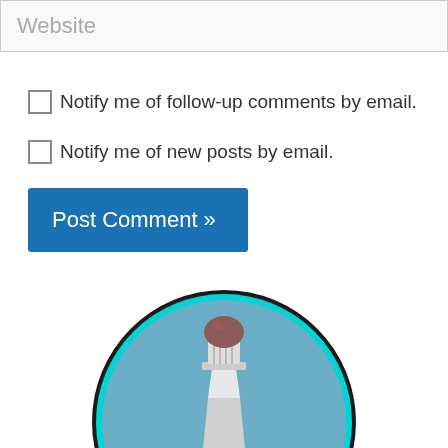Website
Notify me of follow-up comments by email.
Notify me of new posts by email.
Post Comment »
[Figure (logo): Brigantine lighthouse logo — circular badge with a lighthouse illustration on a blue background with a cyan border, and the word 'Brigantine' in red cursive script at the bottom]